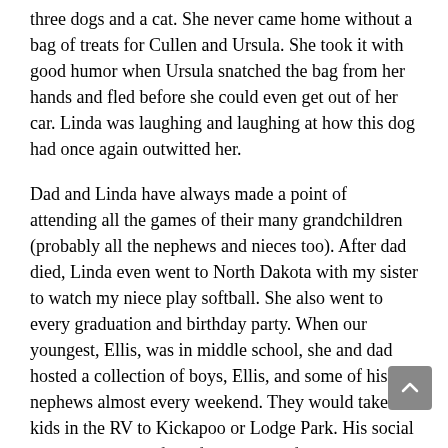three dogs and a cat. She never came home without a bag of treats for Cullen and Ursula. She took it with good humor when Ursula snatched the bag from her hands and fled before she could even get out of her car. Linda was laughing and laughing at how this dog had once again outwitted her.
Dad and Linda have always made a point of attending all the games of their many grandchildren (probably all the nephews and nieces too). After dad died, Linda even went to North Dakota with my sister to watch my niece play softball. She also went to every graduation and birthday party. When our youngest, Ellis, was in middle school, she and dad hosted a collection of boys, Ellis, and some of his nephews almost every weekend. They would take the kids in the RV to Kickapoo or Lodge Park. His social networks are still full of memories of that time. She would post old photos of these youngsters whenever one of them had their birthday or if they happened to appear in her feed.
Before COVID-19...